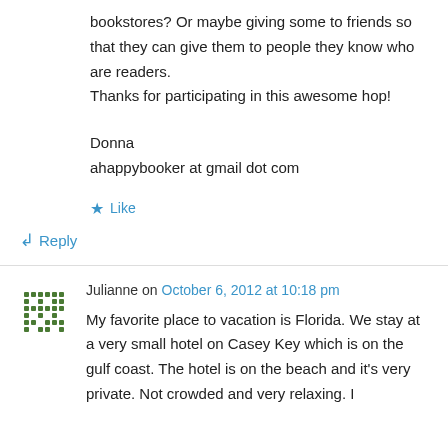bookstores? Or maybe giving some to friends so that they can give them to people they know who are readers.
Thanks for participating in this awesome hop!
Donna
ahappybooker at gmail dot com
★ Like
↳ Reply
Julianne on October 6, 2012 at 10:18 pm
My favorite place to vacation is Florida. We stay at a very small hotel on Casey Key which is on the gulf coast. The hotel is on the beach and it's very private. Not crowded and very relaxing. I